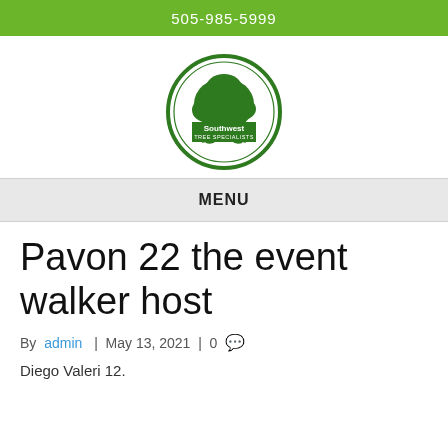505-985-5999
[Figure (logo): Southwest Tree Specialists circular logo with green tree illustration and text]
MENU
Pavon 22 the event walker host
By admin | May 13, 2021 | 0
Diego Valeri 12.